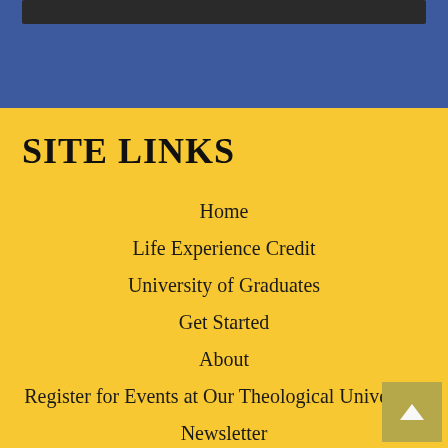SITE LINKS
Home
Life Experience Credit
University of Graduates
Get Started
About
Register for Events at Our Theological University
Newsletter
Donate